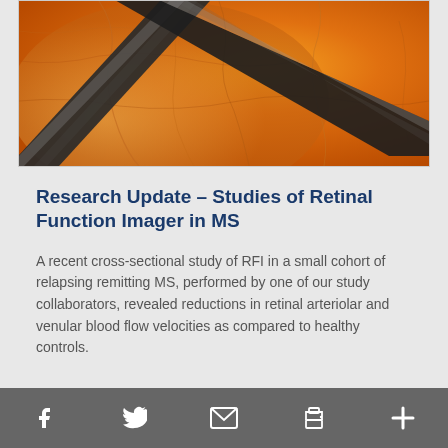[Figure (photo): Close-up retinal image showing orange/amber tissue with dark vessel-like structures crossing diagonally, resembling a retinal function imager scan.]
Research Update – Studies of Retinal Function Imager in MS
A recent cross-sectional study of RFI in a small cohort of relapsing remitting MS, performed by one of our study collaborators, revealed reductions in retinal arteriolar and venular blood flow velocities as compared to healthy controls.
Social share icons: Facebook, Twitter, Email, Print, More